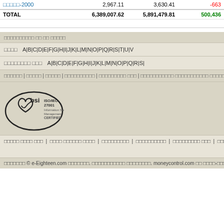|  |  |  |  |
| --- | --- | --- | --- |
| □□□□□-2000 | 2,967.11 | 3,630.41 | -663 |
| TOTAL | 6,389,007.62 | 5,891,479.81 | 500,436 |
□□□□□□□□□□ □□ □□ □□□□□
□□□□  A|B|C|D|E|F|G|H|I|J|K|L|M|N|O|P|Q|R|S|T|U|V...
□□□□□□□□ □□□  A|B|C|D|E|F|G|H|I|J|K|L|M|N|O|P|Q|R|S|...
□□□□□□ | □□□□□ | □□□□□ | □□□□□□□□□□ | □□□□□□□□□ □□□ | □□□□□□□□□□□ □□□□□□□□□□□ □□□□□□ | □□□ | □□□□□□□
[Figure (logo): BSI ISO/IEC 27001 Information Security Management CERTIFIED logo]
□□□□□ □□□□ □□□ | □□□□ □□□□□□ □□□□ | □□□□□□□□□ | □□□□□□□□□□ | □□□□□□□□□ □□□ | □□□□□ □□ □□□□□□ |
□□□□□□□ © e-Eighteen.com □□□□□□□. □□□□□□□□□□□ □□□□□□□□. moneycontrol.com □□ □□□□-□□□□□□ □□ □□□